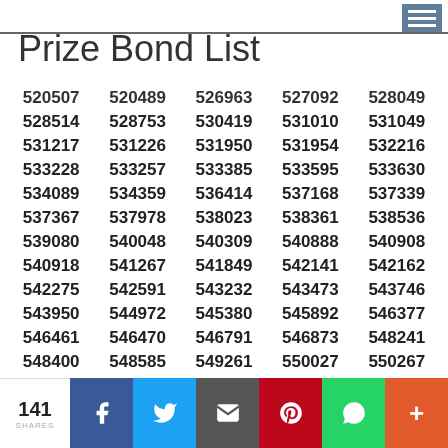Prize Bond List
| 520507 | 520489 | 526963 | 527092 | 528049 |
| 528514 | 528753 | 530419 | 531010 | 531049 |
| 531217 | 531226 | 531950 | 531954 | 532216 |
| 533228 | 533257 | 533385 | 533595 | 533630 |
| 534089 | 534359 | 536414 | 537168 | 537339 |
| 537367 | 537978 | 538023 | 538361 | 538536 |
| 539080 | 540048 | 540309 | 540888 | 540908 |
| 540918 | 541267 | 541849 | 542141 | 542162 |
| 542275 | 542591 | 543232 | 543473 | 543746 |
| 543950 | 544972 | 545380 | 545892 | 546377 |
| 546461 | 546470 | 546791 | 546873 | 548241 |
| 548400 | 548585 | 549261 | 550027 | 550267 |
| 550465 | 550765 | 551846 | 551883 | 552212 |
| 552515 | 552656 | 552812 | 553544 | 553598 |
141 SHARES — Facebook, Twitter, Email, Pinterest, WhatsApp, Plus